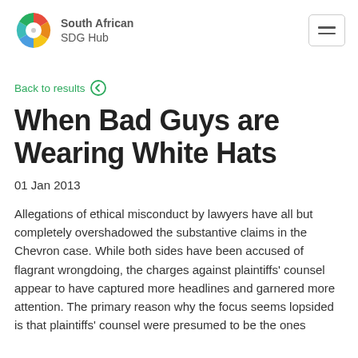South African SDG Hub
Back to results
When Bad Guys are Wearing White Hats
01 Jan 2013
Allegations of ethical misconduct by lawyers have all but completely overshadowed the substantive claims in the Chevron case. While both sides have been accused of flagrant wrongdoing, the charges against plaintiffs' counsel appear to have captured more headlines and garnered more attention. The primary reason why the focus seems lopsided is that plaintiffs' counsel were presumed to be the ones